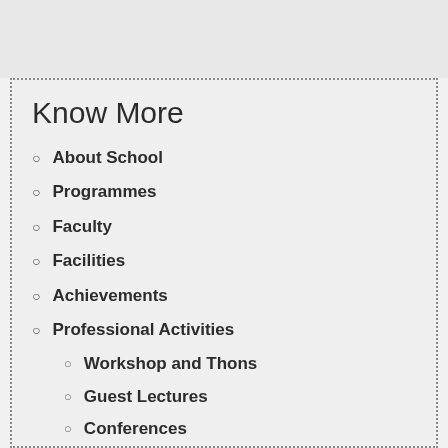Know More
About School
Programmes
Faculty
Facilities
Achievements
Professional Activities
Workshop and Thons
Guest Lectures
Conferences
FDP & VAP
Extension Activities
Industrial Connectivity